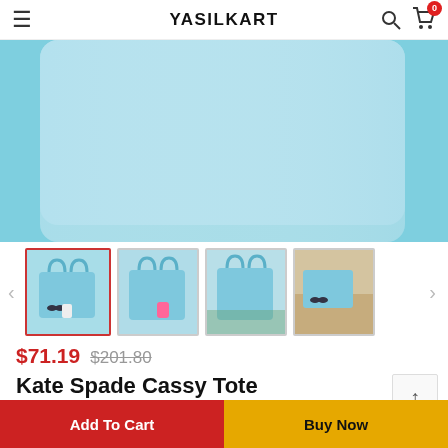YASILKART
[Figure (photo): Close-up of a light blue Kate Spade Cassy Tote bag, showing the smooth leather body and top portion of the bag]
[Figure (photo): Four thumbnail images of the Kate Spade Cassy Tote in light blue from different angles, first thumbnail selected]
$71.19  $201.80
Kate Spade Cassy Tote
★★★★★ (0 customer reviews) | 0 sold
Add To Cart   Buy Now